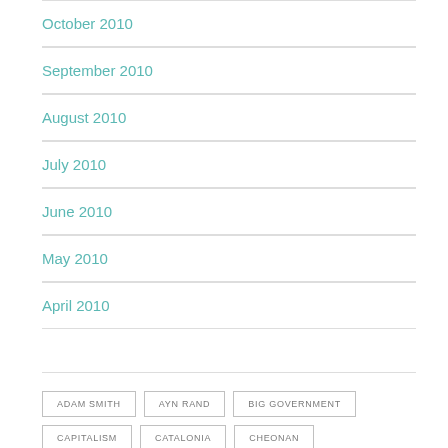October 2010
September 2010
August 2010
July 2010
June 2010
May 2010
April 2010
ADAM SMITH
AYN RAND
BIG GOVERNMENT
CAPITALISM
CATALONIA
CHEONAN